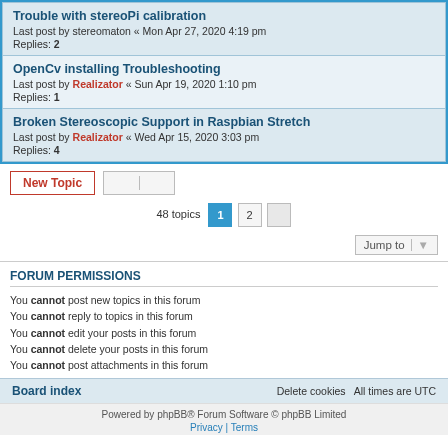Trouble with stereoPi calibration
Last post by stereomaton « Mon Apr 27, 2020 4:19 pm
Replies: 2
OpenCv installing Troubleshooting
Last post by Realizator « Sun Apr 19, 2020 1:10 pm
Replies: 1
Broken Stereoscopic Support in Raspbian Stretch
Last post by Realizator « Wed Apr 15, 2020 3:03 pm
Replies: 4
48 topics  1  2
Jump to
FORUM PERMISSIONS
You cannot post new topics in this forum
You cannot reply to topics in this forum
You cannot edit your posts in this forum
You cannot delete your posts in this forum
You cannot post attachments in this forum
Board index   Delete cookies   All times are UTC
Powered by phpBB® Forum Software © phpBB Limited
Privacy | Terms